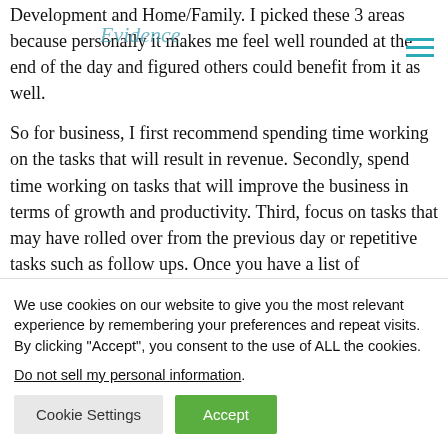Development and Home/Family. I picked these 3 areas because personally it makes me feel well rounded at the end of the day and figured others could benefit from it as well.
So for business, I first recommend spending time working on the tasks that will result in revenue. Secondly, spend time working on tasks that will improve the business in terms of growth and productivity. Third, focus on tasks that may have rolled over from the previous day or repetitive tasks such as follow ups. Once you have a list of
We use cookies on our website to give you the most relevant experience by remembering your preferences and repeat visits. By clicking "Accept", you consent to the use of ALL the cookies.
Do not sell my personal information.